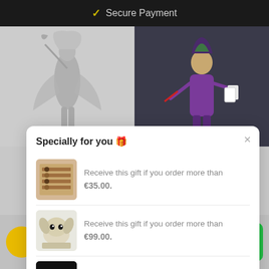✓ Secure Payment
[Figure (screenshot): Background showing two figurines: a grey fantasy warrior female figure on the left, and a purple Joker-style villain figure on the right]
Specially for you 🎁
Receive this gift if you order more than €35.00.
Receive this gift if you order more than €99.00.
Receive this gift if you order more than €200.00.
ⓘ Manage cookies
1
Bericht